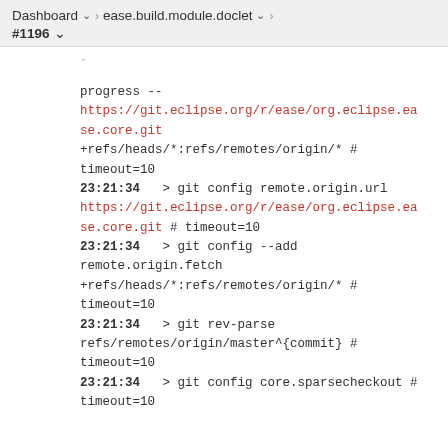Dashboard > ease.build.module.doclet > #1196
progress --
https://git.eclipse.org/r/ease/org.eclipse.ease.core.git
+refs/heads/*:refs/remotes/origin/* # timeout=10
23:21:34   > git config remote.origin.url
https://git.eclipse.org/r/ease/org.eclipse.ease.core.git # timeout=10
23:21:34   > git config --add remote.origin.fetch +refs/heads/*:refs/remotes/origin/* # timeout=10
23:21:34   > git rev-parse refs/remotes/origin/master^{commit} # timeout=10
23:21:34   > git config core.sparsecheckout # timeout=10